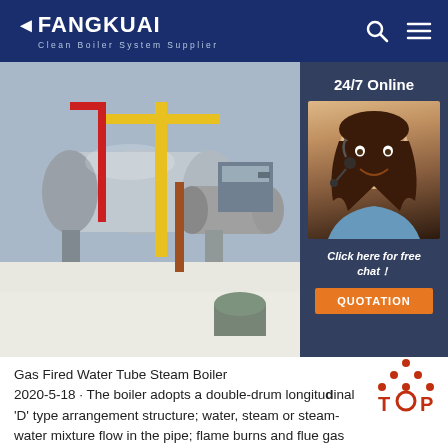FANGKUAI Clean Boiler System Supplier
[Figure (photo): Industrial boiler facility showing large cylindrical water tube steam boilers with yellow and red pipe fittings in a commercial setting. Overlay sidebar shows a customer service agent with headset, '24/7 Online' text, 'Click here for free chat!' text, and a QUOTATION button.]
Gas Fired Water Tube Steam Boiler
2020-5-18 · The boiler adopts a double-drum longitudinal 'D' type arrangement structure; water, steam or steam-water mixture flows in the pipe; flame burns and flue gas flows outside the pipe, forming extremely fast steam-water flow rate and excellent water...